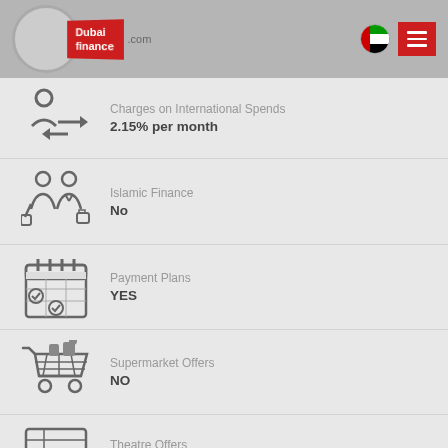[Figure (logo): Dubai Finance .com logo in red with navigation bar]
Charges on International Spends
2.15% per month
Islamic Finance
No
Payment Plans
YES
Supermarket Offers
NO
Theatre Offers